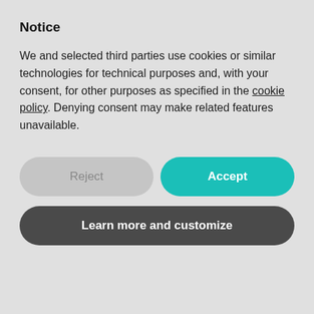Notice
We and selected third parties use cookies or similar technologies for technical purposes and, with your consent, for other purposes as specified in the cookie policy. Denying consent may make related features unavailable.
Reject
Accept
Learn more and customize
been a great couple in the past, but with the new JVM that added native floating point operations this is history. If you are interested, here...